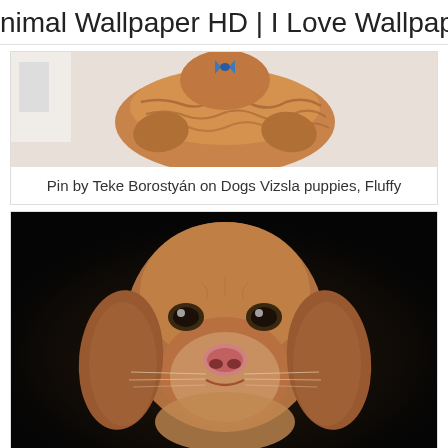nimal Wallpaper HD | I Love Wallpap
[Figure (photo): Top-down view of a tan/golden Vizsla dog wearing a blue bow tie, viewed from above]
Pin by Teke Borostyán on Dogs Vizsla puppies, Fluffy
[Figure (photo): Close-up front view of a Vizsla puppy's face against a dark/black background, showing its brown eyes, droopy ears, and pink nose]
Vizsla  Aranyos kutyák, Kutyakölykök, Legcukibb állatok